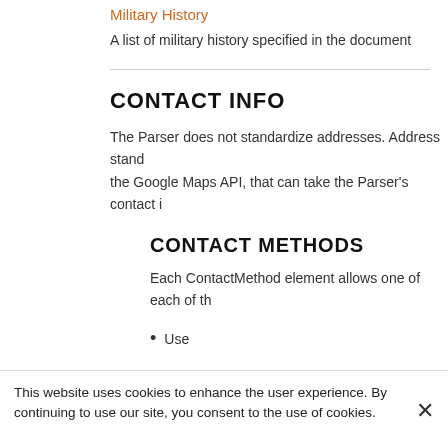Military History
A list of military history specified in the document
CONTACT INFO
The Parser does not standardize addresses. Address stand the Google Maps API, that can take the Parser's contact i
CONTACT METHODS
Each ContactMethod element allows one of each of th
Use
This website uses cookies to enhance the user experience. By continuing to use our site, you consent to the use of cookies.